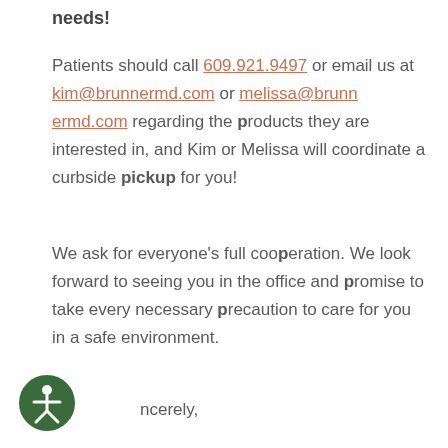needs!
Patients should call 609.921.9497 or email us at kim@brunnermd.com or melissa@brunnermd.com regarding the products they are interested in, and Kim or Melissa will coordinate a curbside pickup for you!
We ask for everyone's full cooperation. We look forward to seeing you in the office and promise to take every necessary precaution to care for you in a safe environment.
Sincerely,